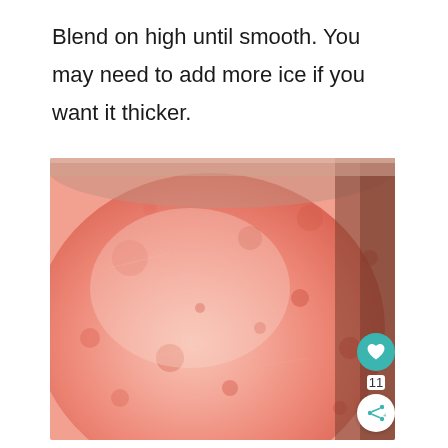Blend on high until smooth. You may need to add more ice if you want it thicker.
[Figure (photo): Close-up overhead view of a blended strawberry smoothie or slushie in a blender jar, showing a pink/red icy blended texture with a rounded glass bowl edge visible at top and right. UI overlay shows a teal heart/like button with count of 11, and a share button.]